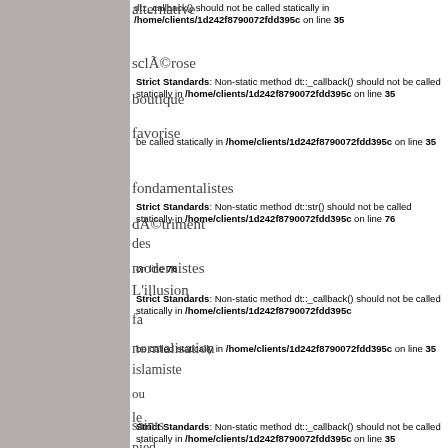dt::_callback() should not be called statically in /home/clients/1d242f8790072fdd395c on line 35
alternative
sclÃ©rose
Strict Standards: Non-static method dt::_callback() should not be called statically in /home/clients/1d242f8790072fdd395c on line 35
boutique
favorise
fondamentalistes
Strict Standards: Non-static method dt::str() should not be called statically in /home/clients/1d242f8790072fdd395c on line 76
dÃ©triment
des
modernistes
L'illusion
Strict Standards: Non-static method dt::_callback() should not be called statically in /home/clients/1d242f8790072fdd395c on line 35
fa
normalisation
islamiste
Strict Standards: Non-static method dt::_callback() should not be called statically in /home/clients/1d242f8790072fdd395c on line 35
le
saints
pied
rÃ©el